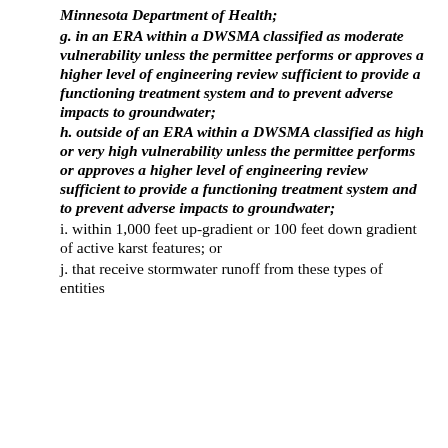Minnesota Department of Health;
g. in an ERA within a DWSMA classified as moderate vulnerability unless the permittee performs or approves a higher level of engineering review sufficient to provide a functioning treatment system and to prevent adverse impacts to groundwater;
h. outside of an ERA within a DWSMA classified as high or very high vulnerability unless the permittee performs or approves a higher level of engineering review sufficient to provide a functioning treatment system and to prevent adverse impacts to groundwater;
i. within 1,000 feet up-gradient or 100 feet down gradient of active karst features; or
j. that receive stormwater runoff from these types of entities